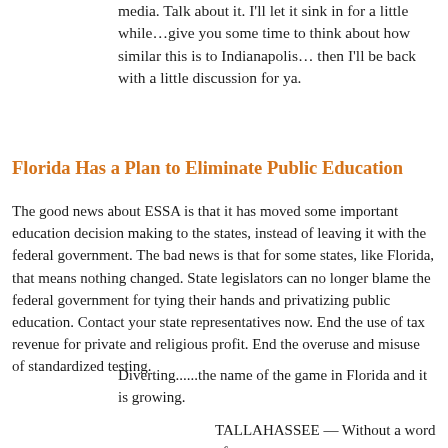Go watch this 10 minute video. Share it on social media. Talk about it. I'll let it sink in for a little while…give you some time to think about how similar this is to Indianapolis… then I'll be back with a little discussion for ya.
Florida Has a Plan to Eliminate Public Education
The good news about ESSA is that it has moved some important education decision making to the states, instead of leaving it with the federal government. The bad news is that for some states, like Florida, that means nothing changed. State legislators can no longer blame the federal government for tying their hands and privatizing public education. Contact your state representatives now. End the use of tax revenue for private and religious profit. End the overuse and misuse of standardized testing.
Diverting......the name of the game in Florida and it is growing.
TALLAHASSEE — Without a word of